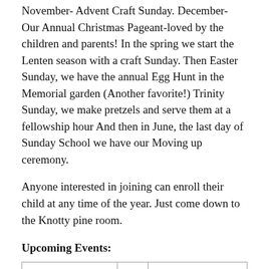November- Advent Craft Sunday. December- Our Annual Christmas Pageant-loved by the children and parents! In the spring we start the Lenten season with a craft Sunday. Then Easter Sunday, we have the annual Egg Hunt in the Memorial garden (Another favorite!) Trinity Sunday, we make pretzels and serve them at a fellowship hour And then in June, the last day of Sunday School we have our Moving up ceremony.
Anyone interested in joining can enroll their child at any time of the year. Just come down to the Knotty pine room.
Upcoming Events:
| February 21 | : | First Sunday of Lent Craft Day |
| February 28 | : | Easter Cottage Collection Begins- Collect |
| March 28th | : | Palm Sunday- Children join Palm Sunday |